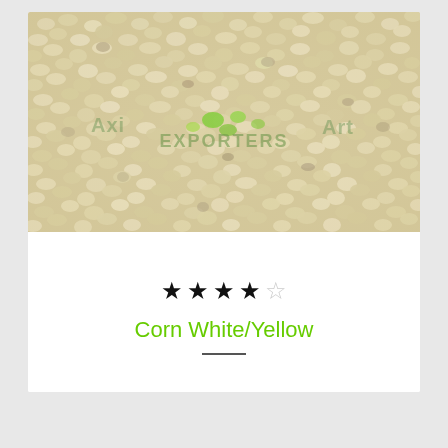[Figure (photo): Close-up photo of dried white/yellow corn kernels (maize) with a green watermark text overlay reading what appears to be an exporter brand name and 'EXPORTERS'.]
★★★★☆
Corn White/Yellow